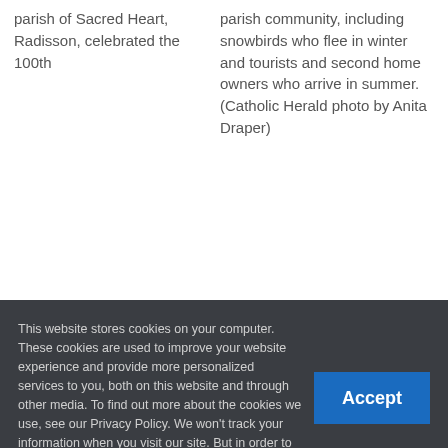parish of Sacred Heart, Radisson, celebrated the 100th
parish community, including snowbirds who flee in winter and tourists and second home owners who arrive in summer. (Catholic Herald photo by Anita Draper)
This website stores cookies on your computer. These cookies are used to improve your website experience and provide more personalized services to you, both on this website and through other media. To find out more about the cookies we use, see our Privacy Policy. We won't track your information when you visit our site. But in order to comply with your preferences, we'll have to use just one tiny cookie so that you're not asked to make this choice again. Settings ›